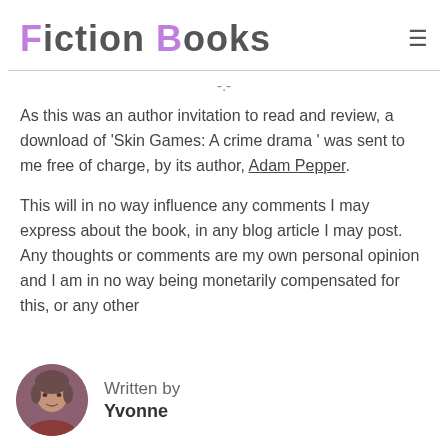Fiction Books
-.-
As this was an author invitation to read and review, a download of 'Skin Games: A crime drama ' was sent to me free of charge, by its author, Adam Pepper.
This will in no way influence any comments I may express about the book, in any blog article I may post. Any thoughts or comments are my own personal opinion and I am in no way being monetarily compensated for this, or any other
Written by
Yvonne